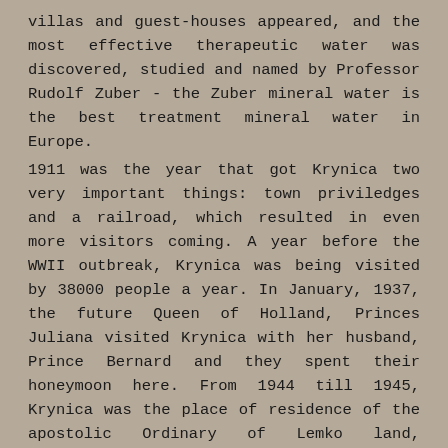villas and guest-houses appeared, and the most effective therapeutic water was discovered, studied and named by Professor Rudolf Zuber - the Zuber mineral water is the best treatment mineral water in Europe.
1911 was the year that got Krynica two very important things: town priviledges and a railroad, which resulted in even more visitors coming. A year before the WWII outbreak, Krynica was being visited by 38000 people a year. In January, 1937, the future Queen of Holland, Princes Juliana visited Krynica with her husband, Prince Bernard and they spent their honeymoon here. From 1944 till 1945, Krynica was the place of residence of the apostolic Ordinary of Lemko land, Oleksander Małynowski. Krynica was under occupation until January 18th, 1945. The withdrawing Germans took all the appliances they could, and the Soviet Red Army destroyed all that was left. Krynica didn't fully recover from the war until late 50s.
One funicular railway onto the famous Góra Parkowa survived the war, and was quclky joined by another - a